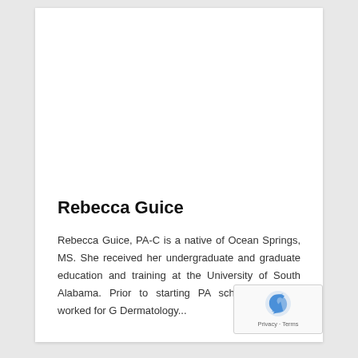Rebecca Guice
Rebecca Guice, PA-C is a native of Ocean Springs, MS. She received her undergraduate and graduate education and training at the University of South Alabama. Prior to starting PA school, Rebecca worked for G Dermatology...